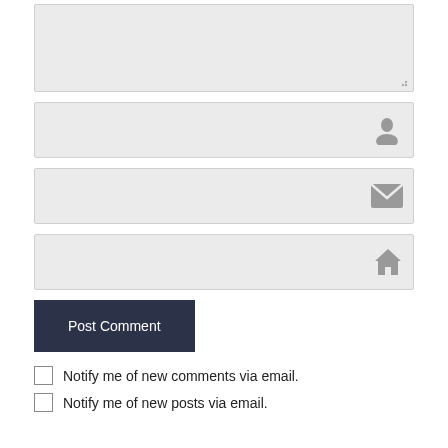[Figure (screenshot): Comment form textarea input box (empty, gray background) with resize handle in bottom-right corner]
[Figure (screenshot): Name input field (gray background) with person/user icon on the right]
[Figure (screenshot): Email input field (gray background) with envelope/mail icon on the right]
[Figure (screenshot): Website/URL input field (gray background) with house/home icon on the right]
Post Comment
Notify me of new comments via email.
Notify me of new posts via email.